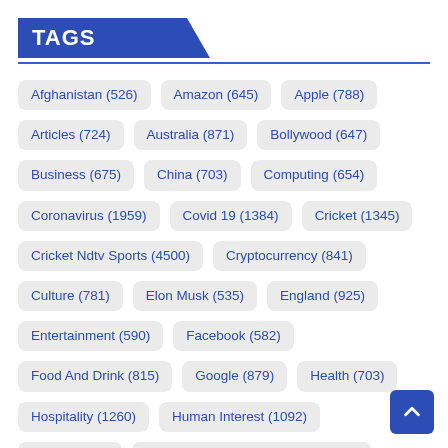TAGS
Afghanistan (526)
Amazon (645)
Apple (788)
Articles (724)
Australia (871)
Bollywood (647)
Business (675)
China (703)
Computing (654)
Coronavirus (1959)
Covid 19 (1384)
Cricket (1345)
Cricket Ndtv Sports (4500)
Cryptocurrency (841)
Culture (781)
Elon Musk (535)
England (925)
Entertainment (590)
Facebook (582)
Food And Drink (815)
Google (879)
Health (703)
Hospitality (1260)
Human Interest (1092)
INDIA (2981)
Indian Premier League 2022 (1058)